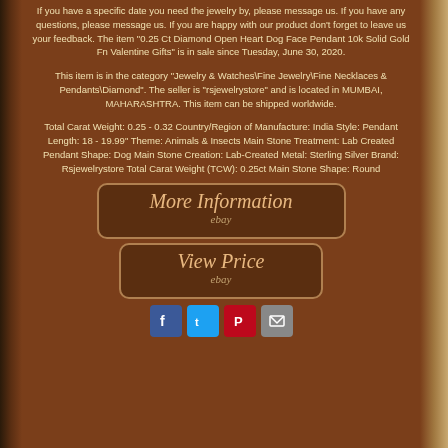If you have a specific date you need the jewelry by, please message us. If you have any questions, please message us. If you are happy with our product don't forget to leave us your feedback. The item "0.25 Ct Diamond Open Heart Dog Face Pendant 10k Solid Gold Fn Valentine Gifts" is in sale since Tuesday, June 30, 2020.
This item is in the category "Jewelry & Watches\Fine Jewelry\Fine Necklaces & Pendants\Diamond". The seller is "rsjewelrystore" and is located in MUMBAI, MAHARASHTRA. This item can be shipped worldwide.
Total Carat Weight: 0.25 - 0.32 Country/Region of Manufacture: India Style: Pendant Length: 18 - 19.99" Theme: Animals & Insects Main Stone Treatment: Lab Created Pendant Shape: Dog Main Stone Creation: Lab-Created Metal: Sterling Silver Brand: Rsjewelrystore Total Carat Weight (TCW): 0.25ct Main Stone Shape: Round
[Figure (other): More Information button linking to eBay]
[Figure (other): View Price button linking to eBay]
[Figure (other): Social sharing icons: Facebook, Twitter, Pinterest, Email]